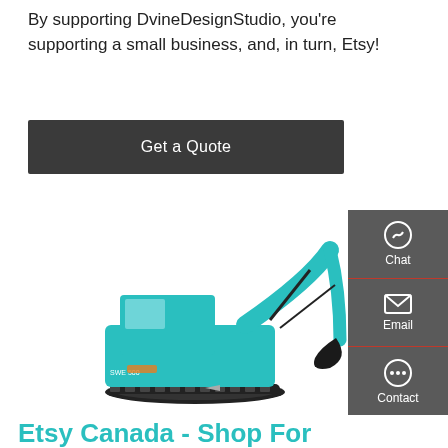By supporting DvineDesignStudio, you're supporting a small business, and, in turn, Etsy!
Get a Quote
[Figure (photo): A teal/turquoise Sunward excavator (model SWE) on white background, with a sidebar panel on the right showing Chat, Email, and Contact icons.]
Etsy Canada - Shop For